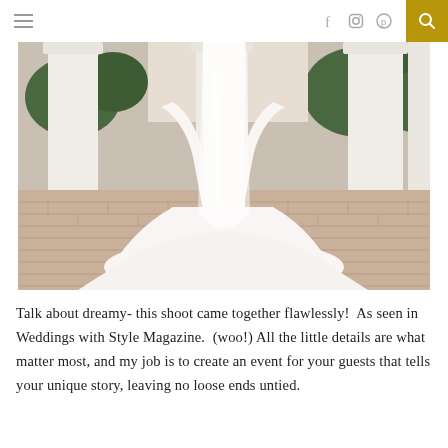Navigation bar with hamburger menu, social icons (Facebook, Instagram, Pinterest), and search button
[Figure (photo): A bride in a white wedding gown with a long flowing train, photographed from behind, standing between white classical columns on a brick terrace with green foliage in the background.]
Talk about dreamy- this shoot came together flawlessly!  As seen in Weddings with Style Magazine.  (woo!) All the little details are what matter most, and my job is to create an event for your guests that tells your unique story, leaving no loose ends untied.